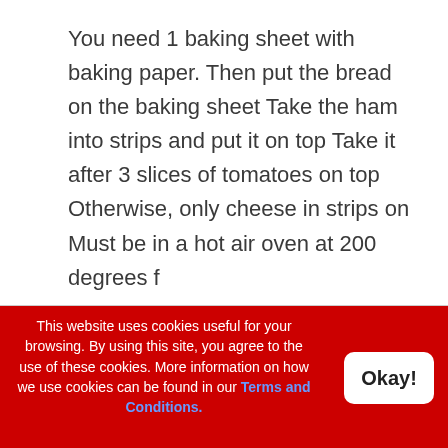You need 1 baking sheet with baking paper. Then put the bread on the baking sheet Take the ham into strips and put it on top Take it after 3 slices of tomatoes on top Otherwise, only cheese in strips on Must be in a hot air oven at 200 degrees f
This website uses cookies useful for your browsing. By using this site, you agree to the use of these cookies. More information on how we use cookies can be found in our Terms and Conditions.